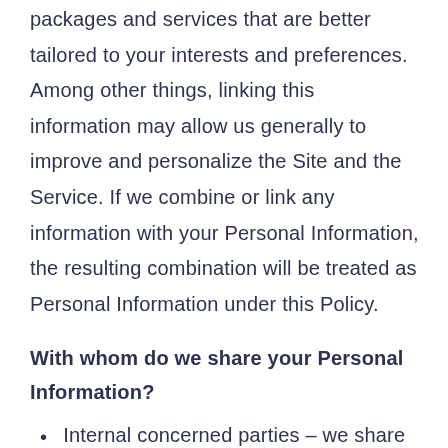packages and services that are better tailored to your interests and preferences. Among other things, linking this information may allow us generally to improve and personalize the Site and the Service. If we combine or link any information with your Personal Information, the resulting combination will be treated as Personal Information under this Policy.
With whom do we share your Personal Information?
Internal concerned parties – we share